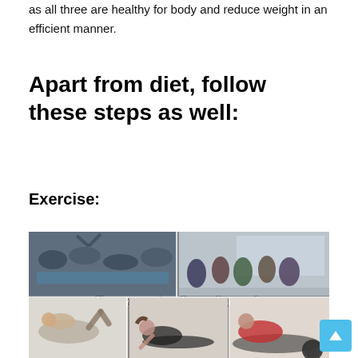as all three are healthy for body and reduce weight in an efficient manner.
Apart from diet, follow these steps as well:
Exercise:
[Figure (photo): Collage of exercise images showing group floor exercises, group squats/jumps, crunches, plank, and medicine ball exercises. Text overlay reads 'Exercise for Lose Pounds'.]